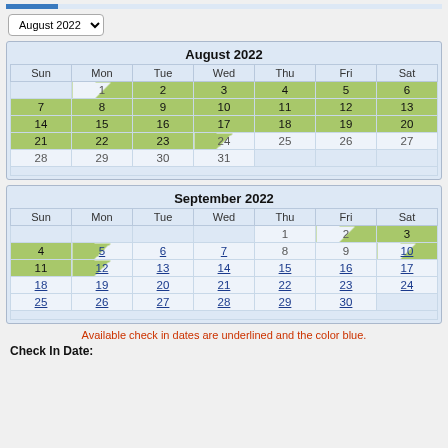August 2022 (dropdown)
| Sun | Mon | Tue | Wed | Thu | Fri | Sat |
| --- | --- | --- | --- | --- | --- | --- |
|  | 1 | 2 | 3 | 4 | 5 | 6 |
| 7 | 8 | 9 | 10 | 11 | 12 | 13 |
| 14 | 15 | 16 | 17 | 18 | 19 | 20 |
| 21 | 22 | 23 | 24 | 25 | 26 | 27 |
| 28 | 29 | 30 | 31 |  |  |  |
| Sun | Mon | Tue | Wed | Thu | Fri | Sat |
| --- | --- | --- | --- | --- | --- | --- |
|  |  |  |  | 1 | 2 | 3 |
| 4 | 5 | 6 | 7 | 8 | 9 | 10 |
| 11 | 12 | 13 | 14 | 15 | 16 | 17 |
| 18 | 19 | 20 | 21 | 22 | 23 | 24 |
| 25 | 26 | 27 | 28 | 29 | 30 |  |
Available check in dates are underlined and the color blue.
Check In Date: